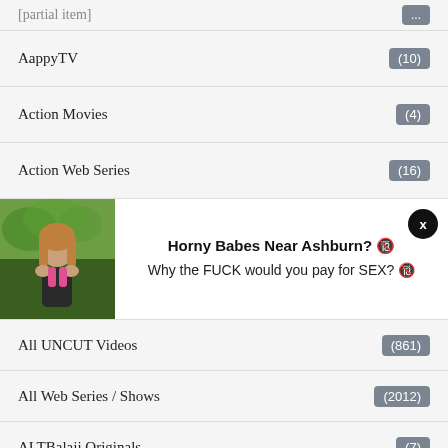[partial top item]
AappyTV (10)
Action Movies (4)
Action Web Series (16)
[Figure (photo): Advertisement banner with a young woman photo and text: Horny Babes Near Ashburn? Why the FUCK would you pay for SEX?]
All UNCUT Videos (861)
All Web Series / Shows (2012)
ALTBalaji Originals (7)
Amateur (1816)